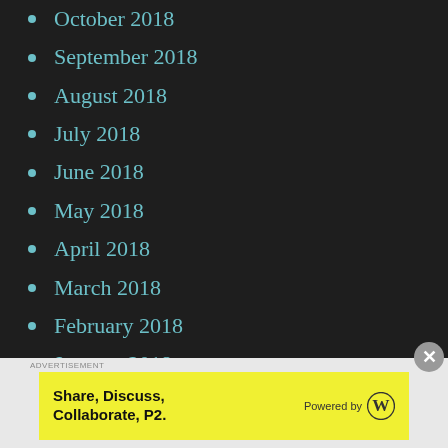October 2018
September 2018
August 2018
July 2018
June 2018
May 2018
April 2018
March 2018
February 2018
January 2018
December 2017
November 2017
October 2017
September 2017
ADVERTISEMENT
[Figure (logo): Yellow advertisement banner: Share, Discuss, Collaborate, P2. Powered by WordPress logo]